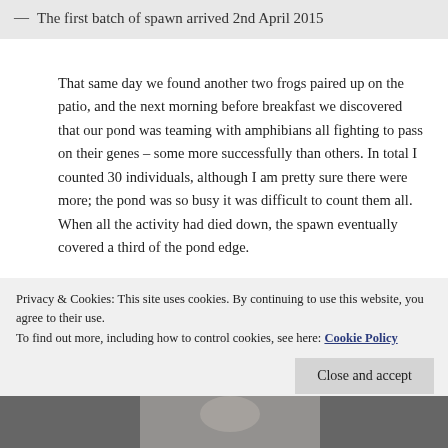The first batch of spawn arrived 2nd April 2015
That same day we found another two frogs paired up on the patio, and the next morning before breakfast we discovered that our pond was teaming with amphibians all fighting to pass on their genes – some more successfully than others. In total I counted 30 individuals, although I am pretty sure there were more; the pond was so busy it was difficult to count them all. When all the activity had died down, the spawn eventually covered a third of the pond edge.
Privacy & Cookies: This site uses cookies. By continuing to use this website, you agree to their use.
To find out more, including how to control cookies, see here: Cookie Policy
[Figure (photo): Partial photo strip at bottom of page, showing a person outdoors]